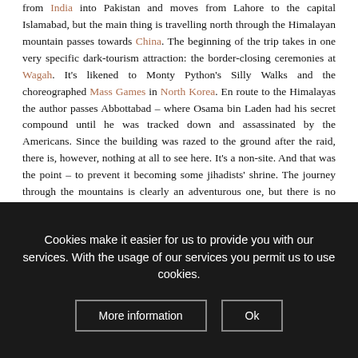from India into Pakistan and moves from Lahore to the capital Islamabad, but the main thing is travelling north through the Himalayan mountain passes towards China. The beginning of the trip takes in one very specific dark-tourism attraction: the border-closing ceremonies at Wagah. It's likened to Monty Python's Silly Walks and the choreographed Mass Games in North Korea. En route to the Himalayas the author passes Abbottabad – where Osama bin Laden had his secret compound until he was tracked down and assassinated by the Americans. Since the building was razed to the ground after the raid, there is, however, nothing at all to see here. It's a non-site. And that was the point – to prevent it becoming some jihadists' shrine. The journey through the mountains is clearly an adventurous one, but there is no more real dark tourism, rather a focus on scenery and petroglyphs, Buddha statues and fortresses and things of a number of which it...
Cookies make it easier for us to provide you with our services. With the usage of our services you permit us to use cookies.